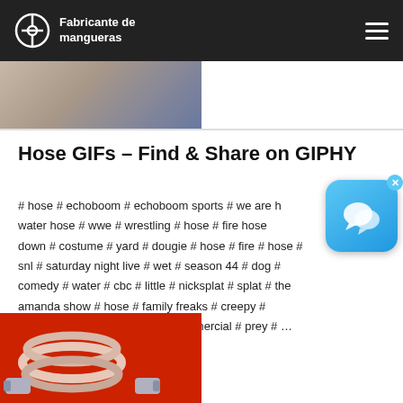Fabricante de mangueras
[Figure (photo): Partial photo of a person near a hose or outdoor scene, cropped at top]
Hose GIFs - Find & Share on GIPHY
# hose # echoboom # echoboom sports # we are hose # water hose # wwe # wrestling # hose # fire hose # down # costume # yard # dougie # hose # fire # hose # snl # saturday night live # wet # season 44 # dog # comedy # water # cbc # little # nicksplat # splat # the amanda show # hose # family freaks # creepy # infomercial # hose # garden # infomercial # prey # ...
[Figure (photo): Coiled industrial hoses with chrome fittings on red background]